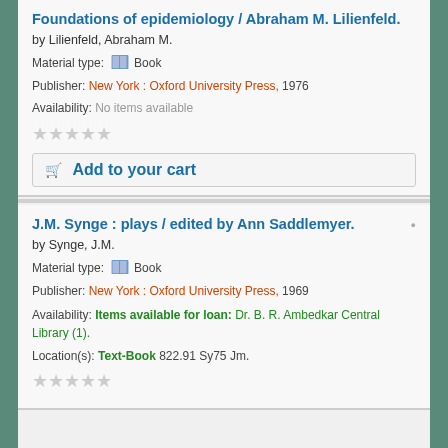Foundations of epidemiology / Abraham M. Lilienfeld.
by Lilienfeld, Abraham M.
Material type: Book
Publisher: New York : Oxford University Press, 1976
Availability: No items available
Add to your cart
J.M. Synge : plays / edited by Ann Saddlemyer.
by Synge, J.M.
Material type: Book
Publisher: New York : Oxford University Press, 1969
Availability: Items available for loan: Dr. B. R. Ambedkar Central Library (1).
Location(s): Text-Book 822.91 Sy75 Jm.